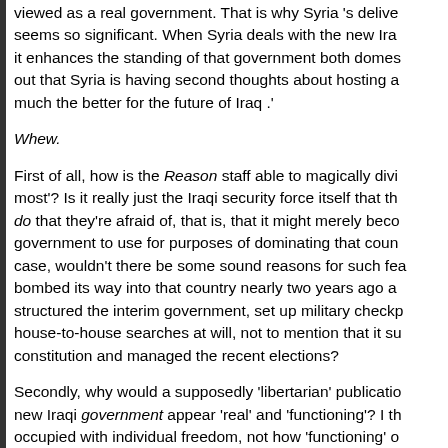viewed as a real government. That is why Syria 's delive seems so significant. When Syria deals with the new Ira it enhances the standing of that government both domes out that Syria is having second thoughts about hosting a much the better for the future of Iraq .'
Whew.
First of all, how is the Reason staff able to magically divi most'? Is it really just the Iraqi security force itself that th do that they're afraid of, that is, that it might merely beco government to use for purposes of dominating that coun case, wouldn't there be some sound reasons for such fea bombed its way into that country nearly two years ago a structured the interim government, set up military checkp house-to-house searches at will, not to mention that it su constitution and managed the recent elections?
Secondly, why would a supposedly 'libertarian' publicatio new Iraqi government appear 'real' and 'functioning'? I th occupied with individual freedom, not how 'functioning' o appear . . . the two ideas seem diametrically opposed to innermost thoughts of Syrian bureaucrats--and I don't cla reason they handed over Saddam's brother-in-law had to attack by any of the 140,000-160,000 U.S. troops in Iraq U.S. and Israeli governments' propensity to blame the S